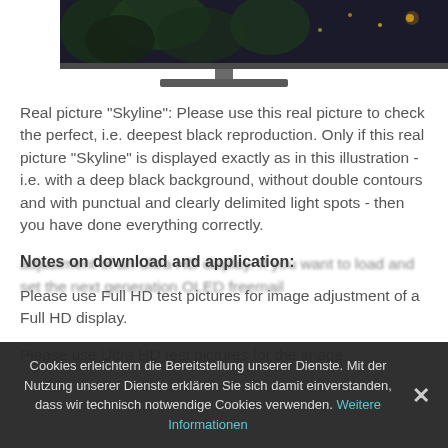[Figure (illustration): Partial view of a monitor/display showing a dark skyline image with lights, monitor stand visible at bottom]
Real picture "Skyline": Please use this real picture to check the perfect, i.e. deepest black reproduction. Only if this real picture "Skyline" is displayed exactly as in this illustration - i.e. with a deep black background, without double contours and with punctual and clearly delimited light spots - then you have done everything correctly.
Notes on download and application:
Please use Full HD test pictures for image adjustment of a Full HD display.
Please use Ultra HD test pictures for the image adjustment of an Ultra HD display.
Cookies erleichtern die Bereitstellung unserer Dienste. Mit der Nutzung unserer Dienste erklären Sie sich damit einverstanden, dass wir technisch notwendige Cookies verwenden. Weitere Informationen